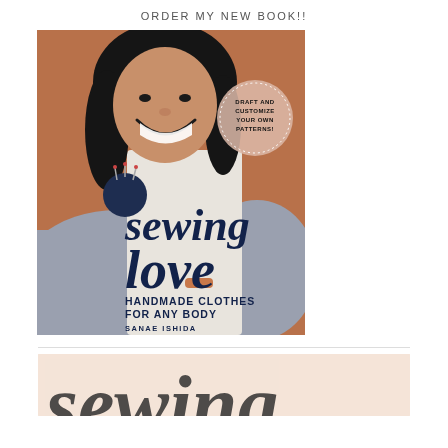ORDER MY NEW BOOK!!
[Figure (photo): Book cover of 'Sewing Love: Handmade Clothes for Any Body' by Sanae Ishida. Features a smiling Asian woman wearing a gray sweater and holding a white apron. A circular badge reads 'Draft and Customize Your Own Patterns!' The book title is written in large stylized script and print lettering in dark navy.]
[Figure (photo): Partial view of another book cover or image with a pink/peach background and large decorative script lettering partially visible at the bottom of the page.]